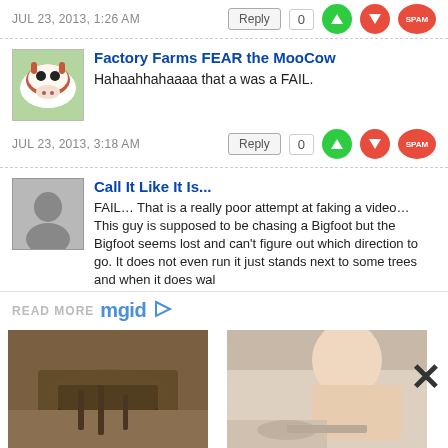JUL 23, 2013, 1:26 AM
Reply  0
[Figure (screenshot): Cow avatar photo for Factory Farms FEAR the MooCow user]
Factory Farms FEAR the MooCow
Hahaahhahaaaa that a was a FAIL.
JUL 23, 2013, 3:18 AM
Reply  0
[Figure (screenshot): Generic grey silhouette avatar for Call It Like It Is user]
Call It Like It Is...
FAIL… That is a really poor attempt at faking a video… This guy is supposed to be chasing a Bigfoot but the Bigfoot seems lost and can't figure out which direction to go. It does not even run it just stands next to some trees and when it does walk
READ MORE mgid
[Figure (photo): Archaeological discovery photo showing excavated objects in dirt - Incredible Discoveries That Puzzled The World]
Incredible Discoveries That Puzzled The World
[Figure (photo): Woman leaning down close to floor looking at something - It's Safe To Say The Fashion World Will Never Be The Same]
It's Safe To Say The Fashion World Will Never Be The Same